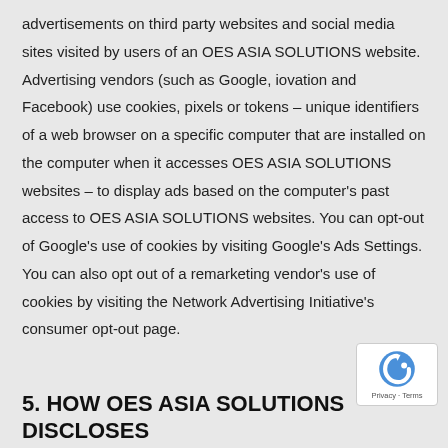advertisements on third party websites and social media sites visited by users of an OES ASIA SOLUTIONS website. Advertising vendors (such as Google, iovation and Facebook) use cookies, pixels or tokens – unique identifiers of a web browser on a specific computer that are installed on the computer when it accesses OES ASIA SOLUTIONS websites – to display ads based on the computer's past access to OES ASIA SOLUTIONS websites. You can opt-out of Google's use of cookies by visiting Google's Ads Settings. You can also opt out of a remarketing vendor's use of cookies by visiting the Network Advertising Initiative's consumer opt-out page.
5. HOW OES ASIA SOLUTIONS DISCLOSES